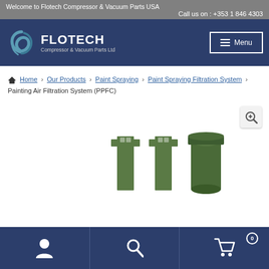Welcome to Flotech Compressor & Vacuum Parts USA
Call us on : +353 1 846 4303
[Figure (logo): Flotech Compressor & Vacuum Parts Ltd logo with swirl graphic and Menu button]
Home > Our Products > Paint Spraying > Paint Spraying Filtration System > Painting Air Filtration System (PPFC)
[Figure (photo): Product photo of Painting Air Filtration System (PPFC) components - metal brackets and cylindrical green filter parts on white background with zoom icon]